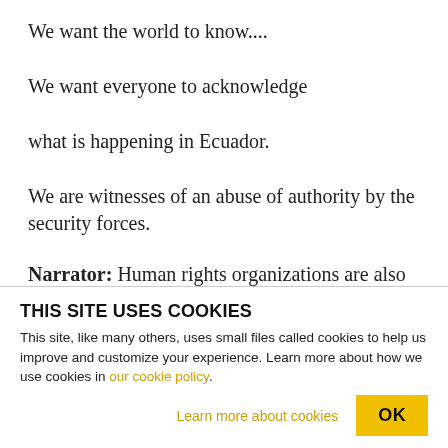We want the world to know....
We want everyone to acknowledge
what is happening in Ecuador.
We are witnesses of an abuse of authority by the security forces.
Narrator: Human rights organizations are also
THIS SITE USES COOKIES
This site, like many others, uses small files called cookies to help us improve and customize your experience. Learn more about how we use cookies in our cookie policy.
Learn more about cookies
OK